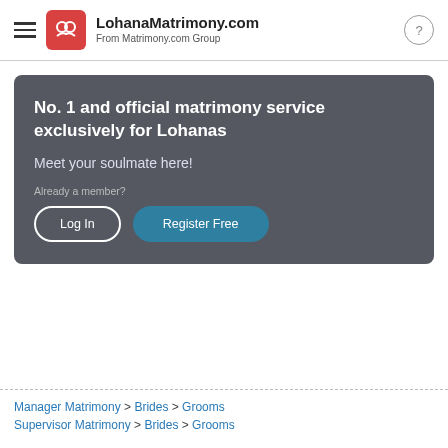LohanaMatrimony.com From Matrimony.com Group
[Figure (infographic): Dark grey banner with headline 'No. 1 and official matrimony service exclusively for Lohanas', subtext 'Meet your soulmate here!', 'Already a member?' label, Log In button, and Register Free button.]
Manager Matrimony > Brides > Grooms
Supervisor Matrimony > Brides > Grooms